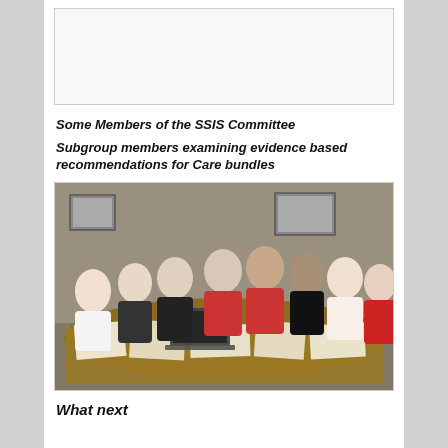[Figure (photo): White empty box at top of page, likely a cropped photo placeholder of SSIS Committee members]
Some Members of the SSIS Committee
Subgroup members examining evidence based recommendations for Care bundles
[Figure (photo): Group photo of subgroup members seated around a conference table covered with documents and laptops, examining evidence based recommendations for Care bundles]
What next